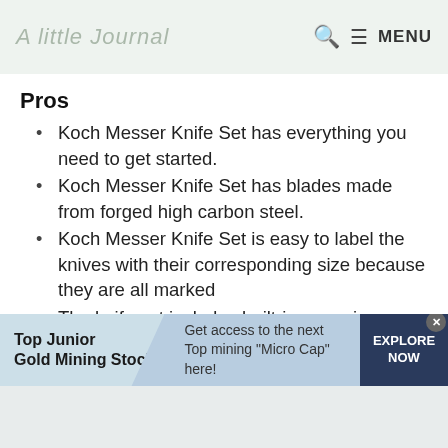≡ MENU
Pros
Koch Messer Knife Set has everything you need to get started.
Koch Messer Knife Set has blades made from forged high carbon steel.
Koch Messer Knife Set is easy to label the knives with their corresponding size because they are all marked
The knife set includes built-in ceramic sharpeners that sharpen chef knives and other straight edge knives evenly
[Figure (infographic): Advertisement banner for Top Junior Gold Mining Stock with 'Get access to the next Top mining "Micro Cap" here!' and EXPLORE NOW button]